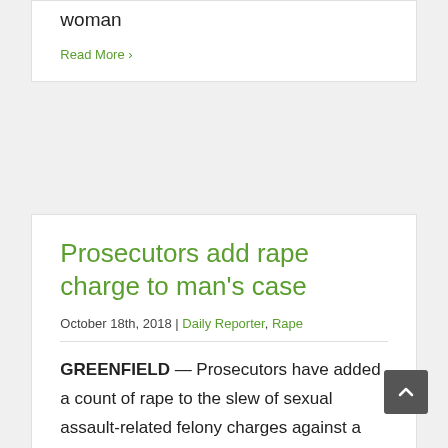woman
Read More >
Prosecutors add rape charge to man's case
October 18th, 2018 | Daily Reporter, Rape
GREENFIELD — Prosecutors have added a count of rape to the slew of sexual assault-related felony charges against a local man after he withdrew from a plea agreement,